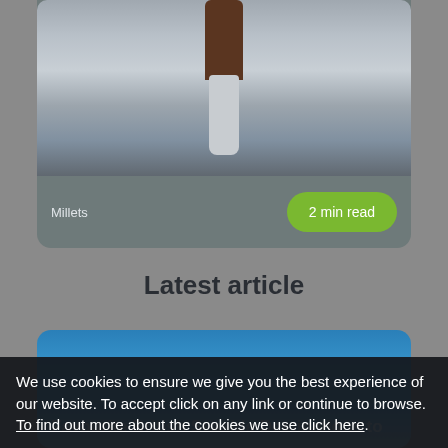[Figure (photo): Card with an image of a person in winter gear standing on ice/snow, with a pack or shield on their back. The image appears dark and atmospheric.]
Millets
2 min read
Latest article
[Figure (photo): Partial article card image showing a blue sky/seaside scene with overlaid text beginning 'Favourite British Seaside Destinations to']
Favourite British Seaside Destinations to
We use cookies to ensure we give you the best experience of our website. To accept click on any link or continue to browse. To find out more about the cookies we use click here.